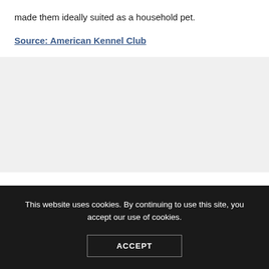made them ideally suited as a household pet.
Source: American Kennel Club
This website uses cookies. By continuing to use this site, you accept our use of cookies.
ACCEPT